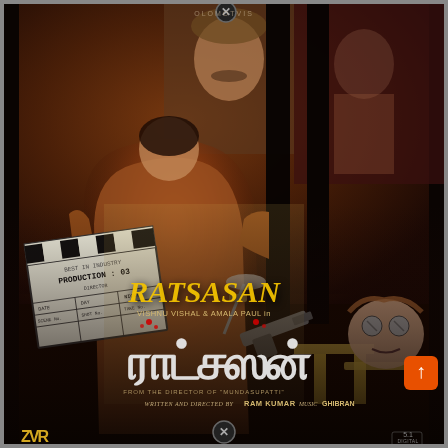[Figure (photo): Movie poster for the Tamil thriller film 'Ratsasan'. Shows a police officer figure from behind holding a clapperboard marked 'PRODUCTION 03' and a gun, with dark vertical bars, background scenes of a police officer's face, a female character, and a horror doll head on a stool. Bottom section has Tamil script title, credits, and studio logos.]
RATSASAN
VISHNU VISHAL & AMALA PAUL in
FROM THE DIRECTOR OF "MUNDASUPATTI"
WRITTEN AND DIRECTED BY RAM KUMAR   MUSIC GHIBRAN
5.1 DIGITAL
ZVR